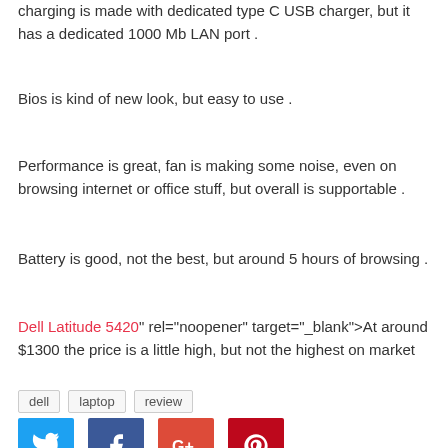charging is made with dedicated type C USB charger, but it has a dedicated 1000 Mb LAN port .
Bios is kind of new look, but easy to use .
Performance is great, fan is making some noise, even on browsing internet or office stuff, but overall is supportable .
Battery is good, not the best, but around 5 hours of browsing .
Dell Latitude 5420" rel="noopener" target="_blank">At around $1300 the price is a little high, but not the highest on market
dell
laptop
review
[Figure (infographic): Social sharing buttons: Twitter (blue), Facebook (dark blue), Google+ (red-orange), Pinterest (dark red)]